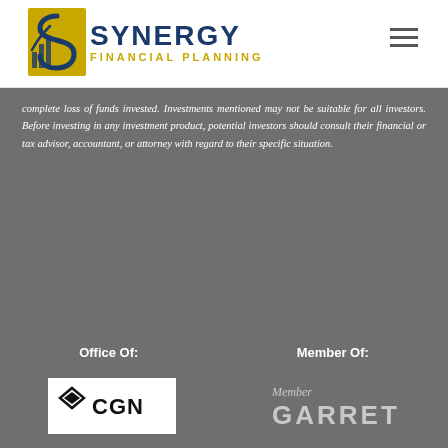[Figure (logo): Synergy Financial Planning logo with S icon and bar chart graphic in blue and gold]
complete loss of funds invested. Investments mentioned may not be suitable for all investors. Before investing in any investment product, potential investors should consult their financial or tax advisor, accountant, or attorney with regard to their specific situation.
Office Of:
Member Of:
[Figure (logo): CGN logo — black diamond shapes with CGN text]
[Figure (logo): Garrett Planning Network Member logo in light gray text]